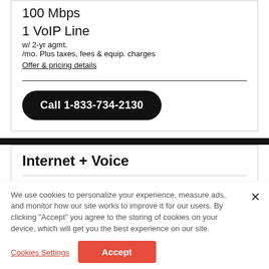100 Mbps
1 VoIP Line
w/ 2-yr agmt.
/mo. Plus taxes, fees & equip. charges
Offer & pricing details
Call 1-833-734-2130
Internet + Voice
We use cookies to personalize your experience, measure ads, and monitor how our site works to improve it for our users. By clicking "Accept" you agree to the storing of cookies on your device, which will get you the best experience on our site.
Cookies Settings
Accept